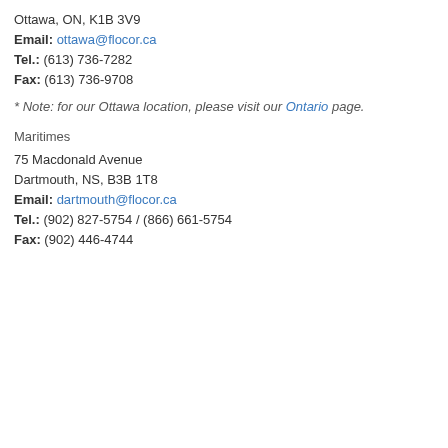Ottawa, ON, K1B 3V9
Email: ottawa@flocor.ca
Tel.: (613) 736-7282
Fax: (613) 736-9708
* Note: for our Ottawa location, please visit our Ontario page.
Maritimes
75 Macdonald Avenue
Dartmouth, NS, B3B 1T8
Email: dartmouth@flocor.ca
Tel.: (902) 827-5754 / (866) 661-5754
Fax: (902) 446-4744